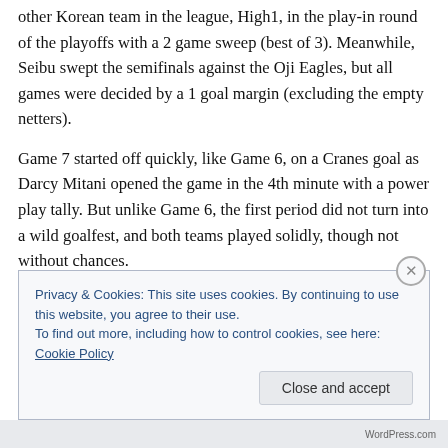other Korean team in the league, High1, in the play-in round of the playoffs with a 2 game sweep (best of 3). Meanwhile, Seibu swept the semifinals against the Oji Eagles, but all games were decided by a 1 goal margin (excluding the empty netters).
Game 7 started off quickly, like Game 6, on a Cranes goal as Darcy Mitani opened the game in the 4th minute with a power play tally. But unlike Game 6, the first period did not turn into a wild goalfest, and both teams played solidly, though not without chances.
Privacy & Cookies: This site uses cookies. By continuing to use this website, you agree to their use.
To find out more, including how to control cookies, see here: Cookie Policy